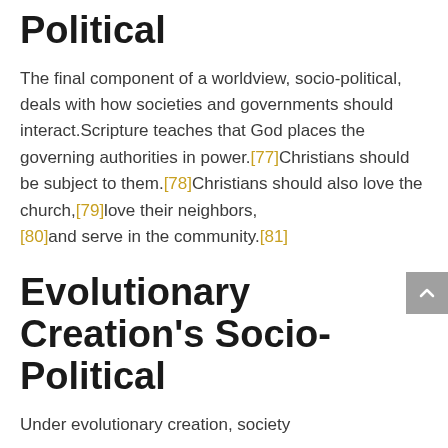Political
The final component of a worldview, socio-political, deals with how societies and governments should interact.Scripture teaches that God places the governing authorities in power.[77]Christians should be subject to them.[78]Christians should also love the church,[79]love their neighbors,[80]and serve in the community.[81]
Evolutionary Creation's Socio-Political
Under evolutionary creation, society